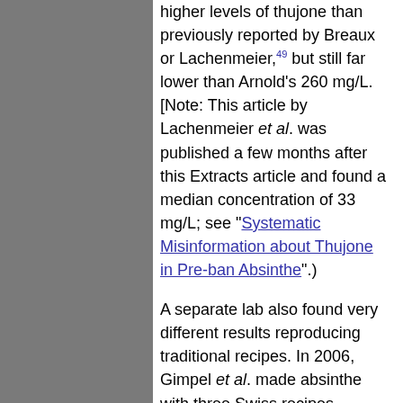higher levels of thujone than previously reported by Breaux or Lachenmeier,49 but still far lower than Arnold's 260 mg/L. [Note: This article by Lachenmeier et al. was published a few months after this Extracts article and found a median concentration of 33 mg/L; see "Systematic Misinformation about Thujone in Pre-ban Absinthe".)
A separate lab also found very different results reproducing traditional recipes. In 2006, Gimpel et al. made absinthe with three Swiss recipes, documenting the thujone content of the Artemisia absinthium they used as well as of the finished products. They found that the thujone content of dried wormwood declines over time. They also showed a wide variation in the thujone content of plants tested, from "less than 0.1